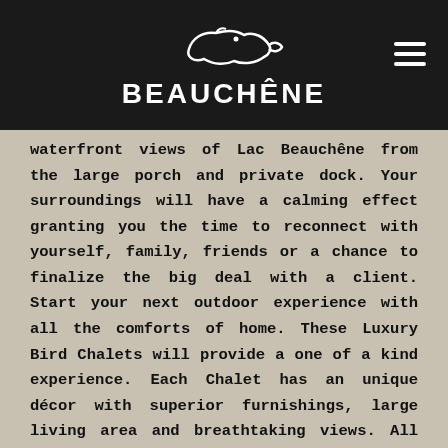BEAUCHÊNE
waterfront views of Lac Beauchêne from the large porch and private dock. Your surroundings will have a calming effect granting you the time to reconnect with yourself, family, friends or a chance to finalize the big deal with a client. Start your next outdoor experience with all the comforts of home. These Luxury Bird Chalets will provide a one of a kind experience. Each Chalet has an unique décor with superior furnishings, large living area and breathtaking views. All Bird Chalets have a fully equipped kitchen and propane barbecue on the back deck. After a day out on the water enjoy a fire in your own hand crafted granite log burning fireplace and when the day is done retreat to one of the very comfortable and spacious bedrooms.